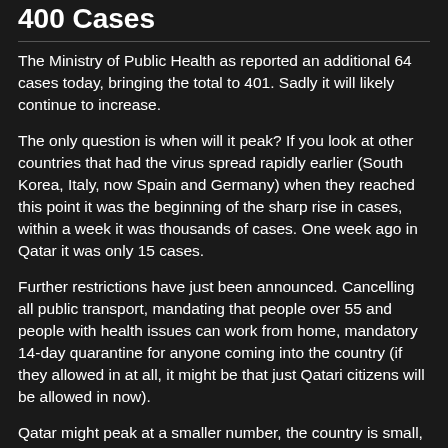400 Cases
The Ministry of Public Health as reported an additional 64 cases today, bringing the total to 401. Sadly it will likely continue to increase.
The only question is when will it peak? If you look at other countries that had the virus spread rapidly earlier (South Korea, Italy, now Spain and Germany) when they reached this point it was the beginning of the sharp rise in cases, within a week it was thousands of cases. One week ago in Qatar it was only 15 cases.
Further restrictions have just been announced. Cancelling all public transport, mandating that people over 55 and people with health issues can work from home, mandatory 14-day quarantine for anyone coming into the country (if they allowed in at all, it might be that just Qatari citizens will be allowed in now).
Qatar might peak at a smaller number, the country is small, mostly one city, and people were starting to be careful over a week ago, even before significant cancelling of events etc.